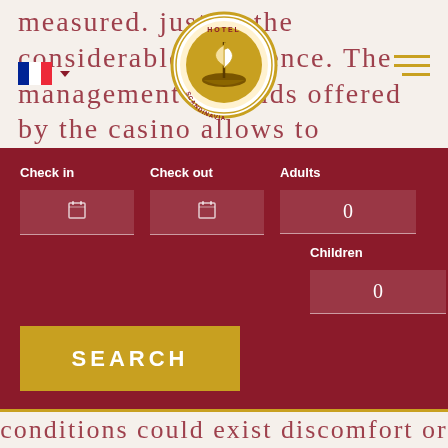measured. justify the considerable difference. The management of funds offered by the casino allows to establish with sufficient precision
[Figure (screenshot): Hotel Scandinavia logo — circular gold and white seal with a sailing ship and the text HOTEL SCANDINAVIA around the border]
[Figure (screenshot): French flag icon with dropdown arrow and hamburger menu icon in gold]
[Figure (screenshot): Hotel booking search form with dark red background. Fields: Check in (calendar icon), Check out (calendar icon), Adults (0), Children (0). Gold SEARCH button.]
conditions could exist discomfort or